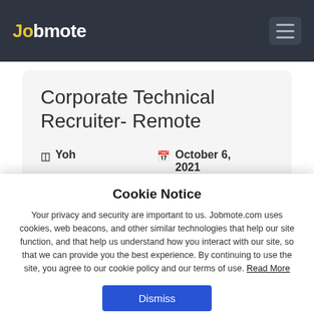Jobmote
Corporate Technical Recruiter- Remote
🏢 Yoh   📅 October 6, 2021
📍 Atlanta   🌐 United States
Cookie Notice
Your privacy and security are important to us. Jobmote.com uses cookies, web beacons, and other similar technologies that help our site function, and that help us understand how you interact with our site, so that we can provide you the best experience. By continuing to use the site, you agree to our cookie policy and our terms of use. Read More
Dismiss